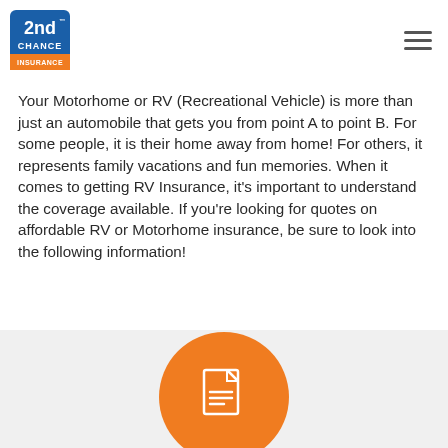2nd Chance Insurance logo and navigation menu
Your Motorhome or RV (Recreational Vehicle) is more than just an automobile that gets you from point A to point B. For some people, it is their home away from home! For others, it represents family vacations and fun memories. When it comes to getting RV Insurance, it's important to understand the coverage available. If you're looking for quotes on affordable RV or Motorhome insurance, be sure to look into the following information!
[Figure (illustration): Orange circle with a white document/paper icon inside, partially visible at the bottom of the page on a light gray background section.]